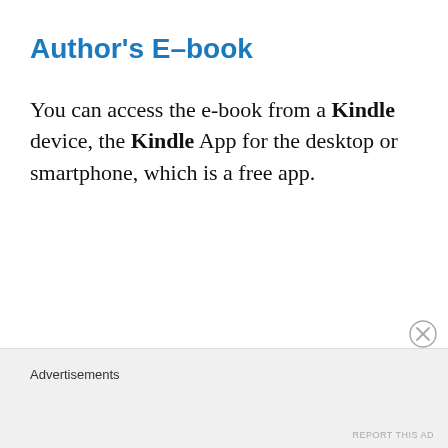Author's E-book
You can access the e-book from a Kindle device, the Kindle App for the desktop or smartphone, which is a free app.
Advertisements